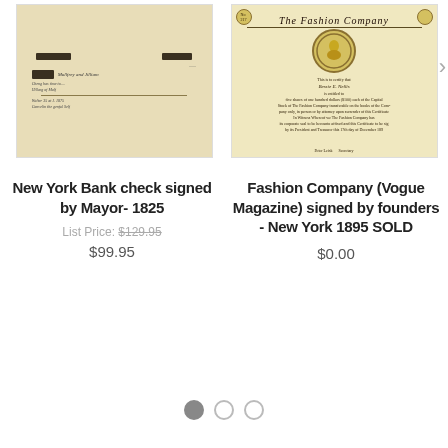[Figure (photo): Scanned image of an old New York Bank check from 1825 with handwritten text and stamps, aged yellowed paper]
[Figure (photo): Scanned image of The Fashion Company (Vogue Magazine) stock certificate from 1895, featuring ornate design with a portrait medallion in yellow/gold, decorative borders, and handwritten text]
New York Bank check signed by Mayor- 1825
List Price: $129.95
$99.95
Fashion Company (Vogue Magazine) signed by founders - New York 1895 SOLD
$0.00